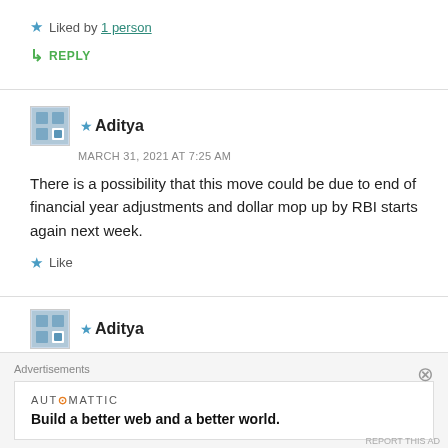★ Liked by 1 person
↳ REPLY
★ Aditya
MARCH 31, 2021 AT 7:25 AM
There is a possibility that this move could be due to end of financial year adjustments and dollar mop up by RBI starts again next week.
★ Like
★ Aditya
Advertisements
AUT⊙MATTIC
Build a better web and a better world.